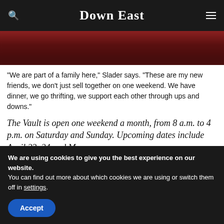Down East
[Figure (photo): Dark reddish-brown interior photo, likely a wooden floor or table surface in dim lighting]
“We are part of a family here,” Slader says. “These are my new friends, we don’t just sell together on one weekend. We have dinner, we go thrifting, we support each other through ups and downs.”
The Vault is open one weekend a month, from 8 a.m. to 4 p.m. on Saturday and Sunday. Upcoming dates include April 23–24 and May
We are using cookies to give you the best experience on our website.
You can find out more about which cookies we are using or switch them off in settings.
Accept